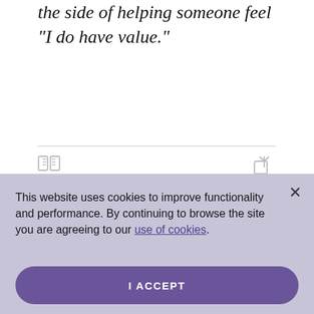the side of helping someone feel "I do have value."
[Figure (other): READ icon (book) and SHARE icon (share/export) buttons below a horizontal divider]
This website uses cookies to improve functionality and performance. By continuing to browse the site you are agreeing to our use of cookies.
I ACCEPT